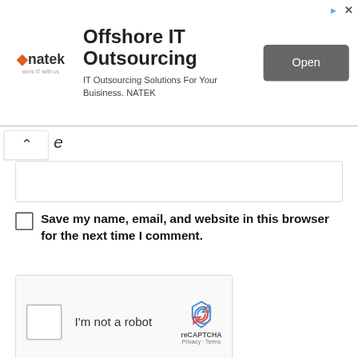[Figure (screenshot): Advertisement banner for NATEK Offshore IT Outsourcing with logo, text, and Open button]
e
Save my name, email, and website in this browser for the next time I comment.
[Figure (screenshot): reCAPTCHA widget with checkbox and I'm not a robot label]
Notify me of follow-up comments by email.
Notify me of new posts by email.
[Figure (screenshot): Social sharing bar with Facebook, Twitter, WhatsApp, and Telegram buttons]